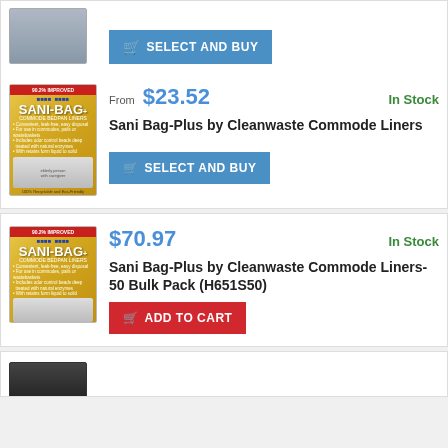[Figure (photo): Partial product card at top — gray product image with SELECT AND BUY button]
[Figure (photo): Sani-Bag commode liner product package (yellow box)]
From $23.52
In Stock
Sani Bag-Plus by Cleanwaste Commode Liners
SELECT AND BUY
[Figure (photo): Sani-Bag commode liner product package (yellow box) - bulk pack]
$70.97
In Stock
Sani Bag-Plus by Cleanwaste Commode Liners-50 Bulk Pack (H651S50)
ADD TO CART
[Figure (photo): Partial product image at bottom — dark bag/case]